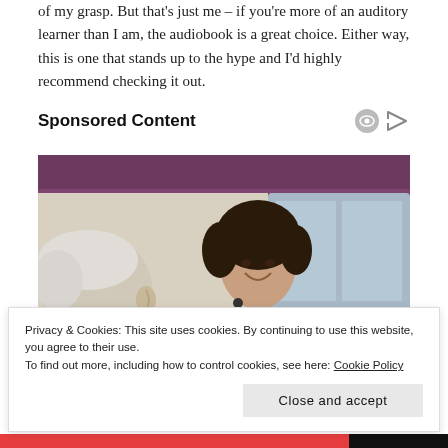of my grasp. But that's just me – if you're more of an auditory learner than I am, the audiobook is a great choice. Either way, this is one that stands up to the hype and I'd highly recommend checking it out.
Sponsored Content
[Figure (photo): A smiling female nurse in blue scrubs with a stethoscope talks with an elderly male patient indoors, purple curtain in background.]
Privacy & Cookies: This site uses cookies. By continuing to use this website, you agree to their use.
To find out more, including how to control cookies, see here: Cookie Policy
Close and accept